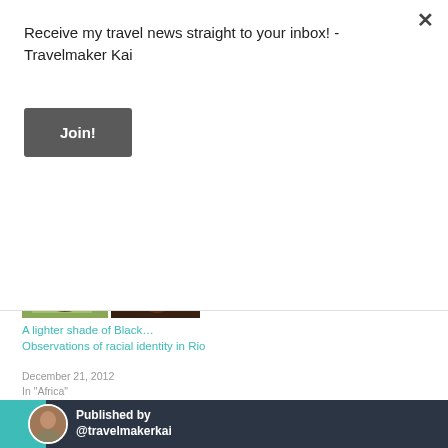Receive my travel news straight to your inbox! - Travelmaker Kai
Join!
[Figure (photo): A 2x2 grid of photos showing people, used as article thumbnail for 'A lighter shade of Black... Observations of racial identity in Rio']
A lighter shade of Black… Observations of racial identity in Rio
December 21, 2012
In "Africa"
Published by @travelmakerkai